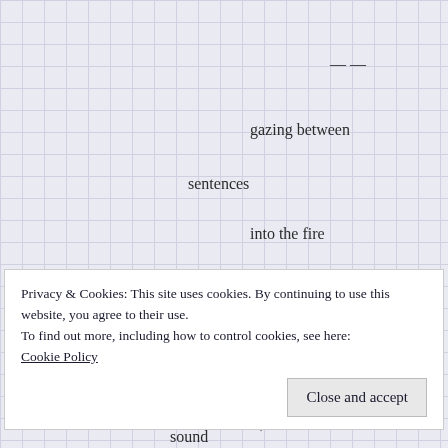— —
gazing between
sentences
into the fire
the beam from
the
old house burns
clear flame,
tinsel
sound
Privacy & Cookies: This site uses cookies. By continuing to use this website, you agree to their use.
To find out more, including how to control cookies, see here: Cookie Policy
Close and accept